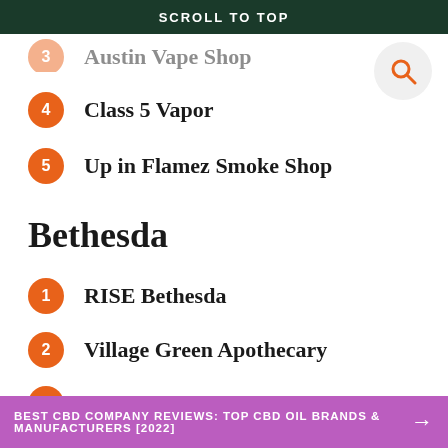SCROLL TO TOP
4  Class 5 Vapor
5  Up in Flamez Smoke Shop
Bethesda
1  RISE Bethesda
2  Village Green Apothecary
3  Bethesda Vapor Company
4  AVAIL Vapor
BEST CBD COMPANY REVIEWS: TOP CBD OIL BRANDS & MANUFACTURERS [2022]